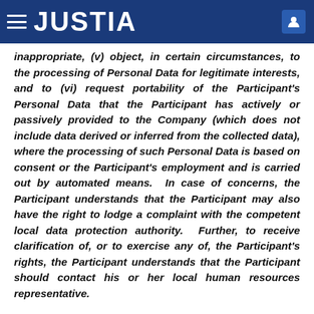JUSTIA
inappropriate, (v) object, in certain circumstances, to the processing of Personal Data for legitimate interests, and to (vi) request portability of the Participant’s Personal Data that the Participant has actively or passively provided to the Company (which does not include data derived or inferred from the collected data), where the processing of such Personal Data is based on consent or the Participant’s employment and is carried out by automated means. In case of concerns, the Participant understands that the Participant may also have the right to lodge a complaint with the competent local data protection authority. Further, to receive clarification of, or to exercise any of, the Participant’s rights, the Participant understands that the Participant should contact his or her local human resources representative.
5.21		Language. The Participant acknowledges